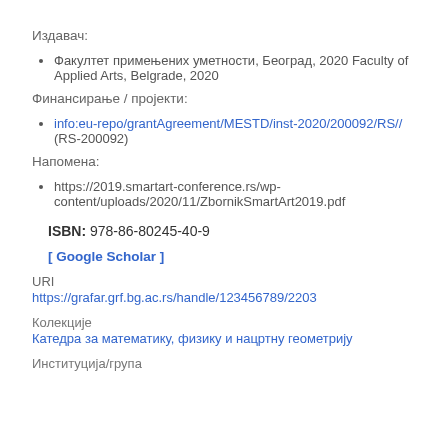Издавач:
Факултет примењених уметности, Београд, 2020 Faculty of Applied Arts, Belgrade, 2020
Финансирање / пројекти:
info:eu-repo/grantAgreement/MESTD/inst-2020/200092/RS// (RS-200092)
Напомена:
https://2019.smartart-conference.rs/wp-content/uploads/2020/11/ZbornikSmartArt2019.pdf
ISBN: 978-86-80245-40-9
[ Google Scholar ]
URI
https://grafar.grf.bg.ac.rs/handle/123456789/2203
Колекције
Катедра за математику, физику и нацртну геометрију
Институција/група